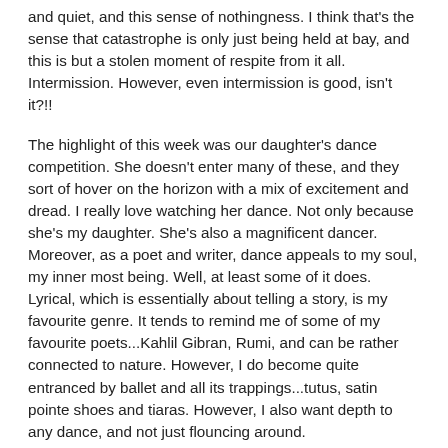and quiet, and this sense of nothingness. I think that's the sense that catastrophe is only just being held at bay, and this is but a stolen moment of respite from it all. Intermission. However, even intermission is good, isn't it?!!
The highlight of this week was our daughter's dance competition. She doesn't enter many of these, and they sort of hover on the horizon with a mix of excitement and dread. I really love watching her dance. Not only because she's my daughter. She's also a magnificent dancer. Moreover, as a poet and writer, dance appeals to my soul, my inner most being. Well, at least some of it does. Lyrical, which is essentially about telling a story, is my favourite genre. It tends to remind me of some of my favourite poets...Kahlil Gibran, Rumi, and can be rather connected to nature. However, I do become quite entranced by ballet and all its trappings...tutus, satin pointe shoes and tiaras. However, I also want depth to any dance, and not just flouncing around.